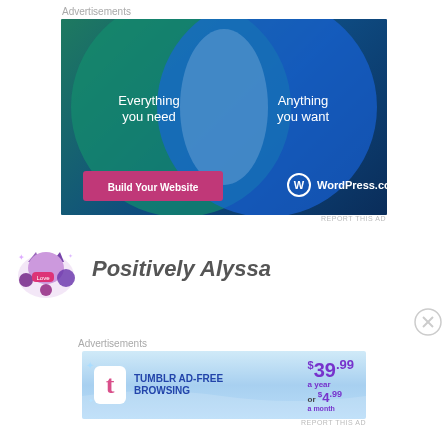Advertisements
[Figure (illustration): WordPress.com advertisement banner showing two overlapping circles (Venn diagram style) on a dark teal/blue background. Left circle text: 'Everything you need', right circle text: 'Anything you want'. Pink button 'Build Your Website' at bottom left. WordPress.com logo at bottom right.]
REPORT THIS AD
[Figure (logo): Positively Alyssa blog logo with decorative purple/pink floral and cat imagery]
Positively Alyssa
Advertisements
[Figure (illustration): Tumblr Ad-Free Browsing advertisement banner. Tumblr logo on left, text 'TUMBLR AD-FREE BROWSING', price '$39.99 a year or $4.99 a month' on right. Light blue gradient background.]
REPORT THIS AD